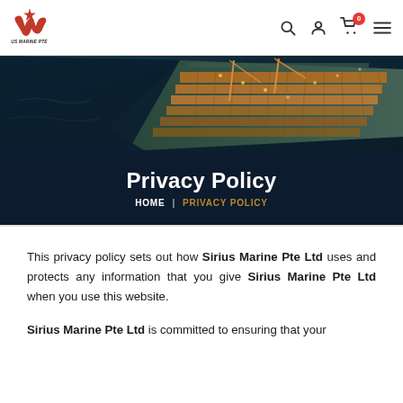SIRIUS MARINE PTE LTD
[Figure (photo): Aerial view of a large ship/port at night with orange industrial lights, dark teal water background]
Privacy Policy
HOME | PRIVACY POLICY
This privacy policy sets out how Sirius Marine Pte Ltd uses and protects any information that you give Sirius Marine Pte Ltd when you use this website.
Sirius Marine Pte Ltd is committed to ensuring that your